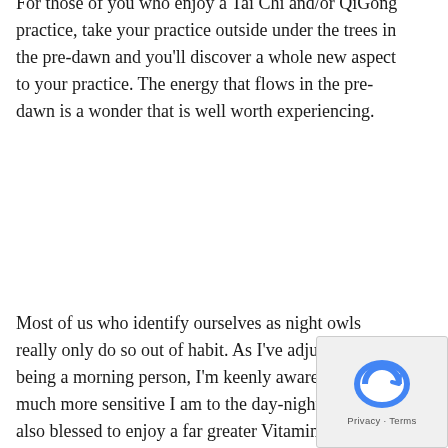For those of you who enjoy a Tai Chi and/or QiGong practice, take your practice outside under the trees in the pre-dawn and you'll discover a whole new aspect to your practice. The energy that flows in the pre-dawn is a wonder that is well worth experiencing.
Most of us who identify ourselves as night owls really only do so out of habit. As I've adjusted to being a morning person, I'm keenly aware of how much more sensitive I am to the day-night cycle. I'm also blessed to enjoy a far greater Vitamin D blood-serum level during the spring-through-autumn months because I tend to get outside in the early morning and expose my skin to sunshine instead of being indoors for most, if not all, of the daylight hours.
The reasons for being a morning person are many. I'd encourage you all to slowly try shifting